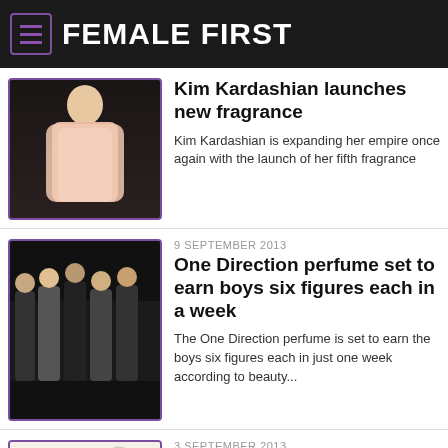FEMALE FIRST
Kim Kardashian launches new fragrance
Kim Kardashian is expanding her empire once again with the launch of her fifth fragrance
9 SEPTEMBER 2013
One Direction perfume set to earn boys six figures each in a week
The One Direction perfume is set to earn the boys six figures each in just one week according to beauty...
3 SEPTEMBER 2013
Jo Malone's new fragrance: Buy it...